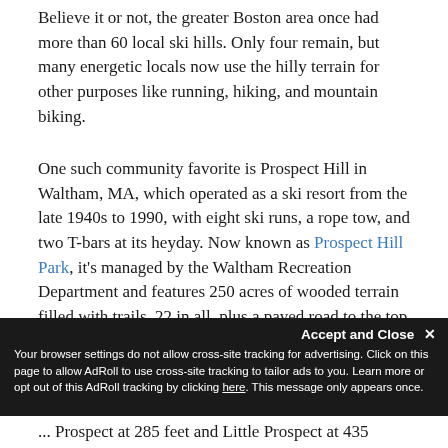Believe it or not, the greater Boston area once had more than 60 local ski hills. Only four remain, but many energetic locals now use the hilly terrain for other purposes like running, hiking, and mountain biking.
One such community favorite is Prospect Hill in Waltham, MA, which operated as a ski resort from the late 1940s to 1990, with eight ski runs, a rope tow, and two T-bars at its heyday. Now known as Prospect Hill Park, it's managed by the Waltham Recreation Department and features 250 acres of wooded terrain filled with trails, 22 in all, plus a paved road to the top—suited for heart-pumping workouts and relaxing strolls.
... Prospect at 285 feet and Little Prospect at 435
Accept and Close ✕ Your browser settings do not allow cross-site tracking for advertising. Click on this page to allow AdRoll to use cross-site tracking to tailor ads to you. Learn more or opt out of this AdRoll tracking by clicking here. This message only appears once.